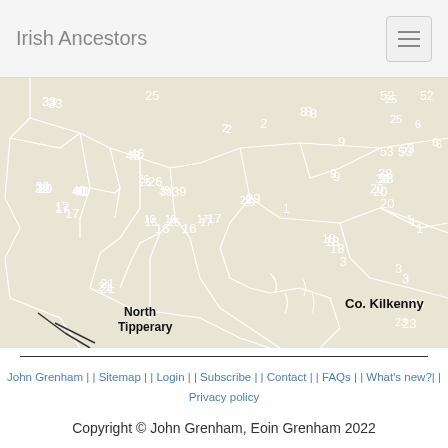Irish Ancestors
[Figure (map): Map of Irish parishes/baronies in Co. Kilkenny and North Tipperary regions, showing numbered regions (1, 3, 8, 9, 17, 18, 20, 21, 22, 23, 25, 26, 29, 33, 38, 39, 40, 42, 46, 53) with white boundary lines on beige/tan background. Labels include 'Co. Kilkenny' and 'North Tipperary'.]
John Grenham | | Sitemap | | Login | | Subscribe | | Contact | | FAQs | | What's new?| | Privacy policy
Copyright © John Grenham, Eoin Grenham 2022